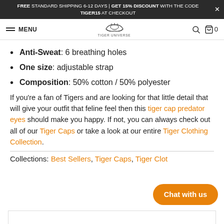FREE STANDARD SHIPPING 6-12 DAYS | GET 15% DISCOUNT WITH THE CODE TIGER15 AT CHECKOUT
MENU | TIGER UNIVERSE | 0
Anti-Sweat: 6 breathing holes
One size: adjustable strap
Composition: 50% cotton / 50% polyester
If you're a fan of Tigers and are looking for that little detail that will give your outfit that feline feel then this tiger cap predator eyes should make you happy. If not, you can always check out all of our Tiger Caps or take a look at our entire Tiger Clothing Collection.
Collections: Best Sellers, Tiger Caps, Tiger Clothing...